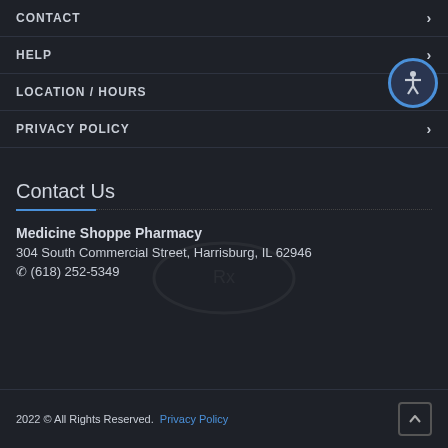CONTACT
HELP
LOCATION / HOURS
PRIVACY POLICY
Contact Us
Medicine Shoppe Pharmacy
304 South Commercial Street, Harrisburg, IL 62946
✆ (618) 252-5349
2022 © All Rights Reserved.  Privacy Policy